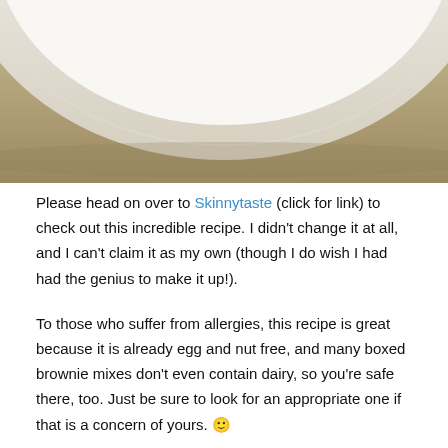[Figure (photo): Close-up photo of a white plate resting on a wooden surface, showing the curved rim of the plate from above against a warm brown wood background.]
Please head on over to Skinnytaste (click for link) to check out this incredible recipe. I didn't change it at all, and I can't claim it as my own (though I do wish I had had the genius to make it up!).
To those who suffer from allergies, this recipe is great because it is already egg and nut free, and many boxed brownie mixes don't even contain dairy, so you're safe there, too. Just be sure to look for an appropriate one if that is a concern of yours. 🙂
As far as taste goes, you honestly cannot tell there are beans in these. I won't lie to you – you can sort of tell that